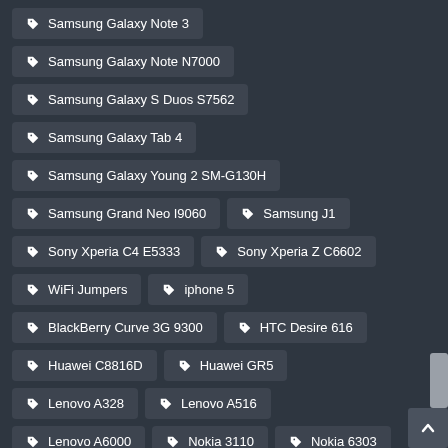Samsung Galaxy Note 3
Samsung Galaxy Note N7000
Samsung Galaxy S Duos S7562
Samsung Galaxy Tab 4
Samsung Galaxy Young 2 SM-G130H
Samsung Grand Neo I9060
Samsung J1
Sony Xperia C4 E5333
Sony Xperia Z C6602
WiFi Jumpers
iphone 5
BlackBerry Curve 3G 9300
HTC Desire 616
Huawei C8816D
Huawei GR5
Lenovo A328
Lenovo A516
Lenovo A6000
Nokia 3110
Nokia 6303
Nokia Asha 302
Nokia Lumia 630